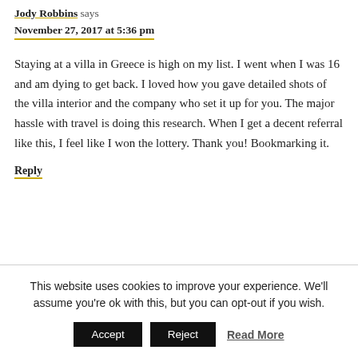Jody Robbins says
November 27, 2017 at 5:36 pm
Staying at a villa in Greece is high on my list. I went when I was 16 and am dying to get back. I loved how you gave detailed shots of the villa interior and the company who set it up for you. The major hassle with travel is doing this research. When I get a decent referral like this, I feel like I won the lottery. Thank you! Bookmarking it.
Reply
This website uses cookies to improve your experience. We'll assume you're ok with this, but you can opt-out if you wish.